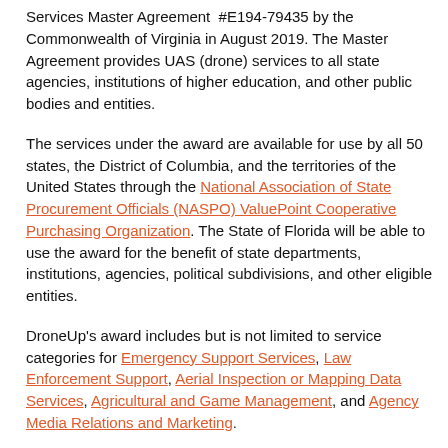Services Master Agreement #E194-79435 by the Commonwealth of Virginia in August 2019. The Master Agreement provides UAS (drone) services to all state agencies, institutions of higher education, and other public bodies and entities.
The services under the award are available for use by all 50 states, the District of Columbia, and the territories of the United States through the National Association of State Procurement Officials (NASPO) ValuePoint Cooperative Purchasing Organization. The State of Florida will be able to use the award for the benefit of state departments, institutions, agencies, political subdivisions, and other eligible entities.
DroneUp's award includes but is not limited to service categories for Emergency Support Services, Law Enforcement Support, Aerial Inspection or Mapping Data Services, Agricultural and Game Management, and Agency Media Relations and Marketing.
For more information on the NASPO Master Agreement or the State of Florida's Participating Addendum, please contact Tripp Shannon, CRO at 757-337-2125.
Media Contact: Amy Wiegand | 757-657-4886 | amy.wiegand@droneup.com